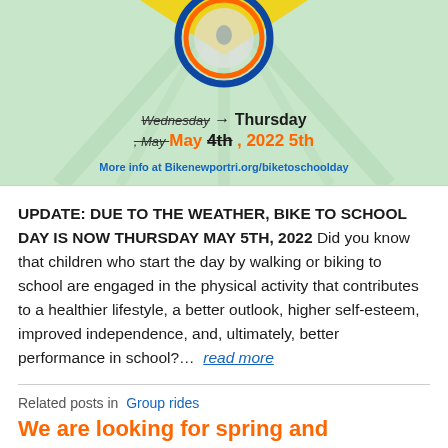[Figure (illustration): Bike to School Day promotional graphic on green background showing a circular badge with cyclists, with strikethrough Wednesday changed to Thursday, May 4th changed to 5th 2022, and website URL Bikenewportri.org/biketoschoolday]
UPDATE: DUE TO THE WEATHER, BIKE TO SCHOOL DAY IS NOW THURSDAY MAY 5TH, 2022  Did you know that children who start the day by walking or biking to school are engaged in the physical activity that contributes to a healthier lifestyle, a better outlook, higher self-esteem, improved independence, and, ultimately, better performance in school?...  read more
Related posts in  Group rides
We are looking for spring and